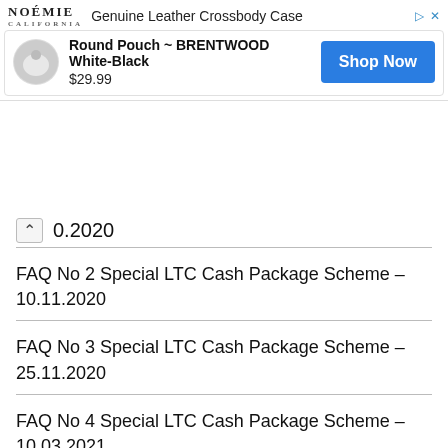[Figure (screenshot): Advertisement banner for NOÉMIE Genuine Leather Crossbody Case showing Round Pouch ~ BRENTWOOD White-Black priced at $29.99 with a Shop Now button]
0.2020
FAQ No 2 Special LTC Cash Package Scheme – 10.11.2020
FAQ No 3 Special LTC Cash Package Scheme – 25.11.2020
FAQ No 4 Special LTC Cash Package Scheme – 10.03.2021
LTC Cash Voucher Scheme for Defence Armed Forces Personnel